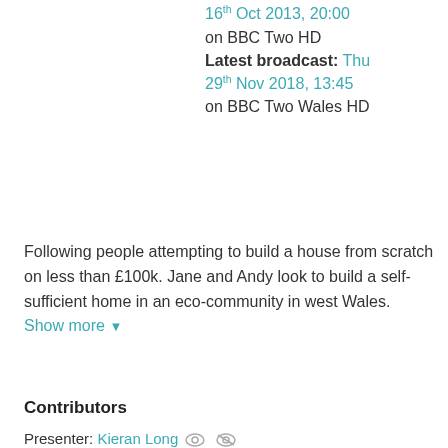16th Oct 2013, 20:00 on BBC Two HD Latest broadcast: Thu 29th Nov 2018, 13:45 on BBC Two Wales HD
Following people attempting to build a house from scratch on less than £100k. Jane and Andy look to build a self-sufficient home in an eco-community in west Wales. Show more
Contributors
Presenter: Kieran Long
Presenter: Piers Taylor
Executive Producer: Annette Clarke
Series Editor: Joff Wilson
Genres
Factual / Homes & Gardens
Brand